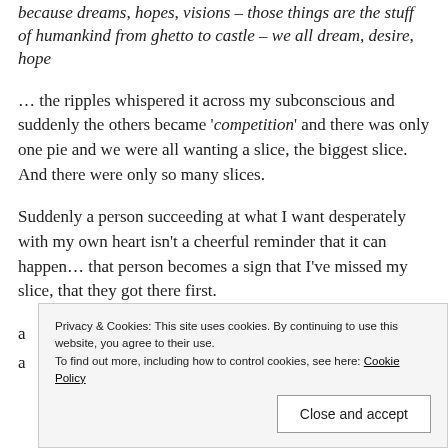because dreams, hopes, visions – those things are the stuff of humankind from ghetto to castle – we all dream, desire, hope
… the ripples whispered it across my subconscious and suddenly the others became 'competition' and there was only one pie and we were all wanting a slice, the biggest slice. And there were only so many slices.
Suddenly a person succeeding at what I want desperately with my own heart isn't a cheerful reminder that it can happen… that person becomes a sign that I've missed my slice, that they got there first.
a
a
Privacy & Cookies: This site uses cookies. By continuing to use this website, you agree to their use. To find out more, including how to control cookies, see here: Cookie Policy
Close and accept